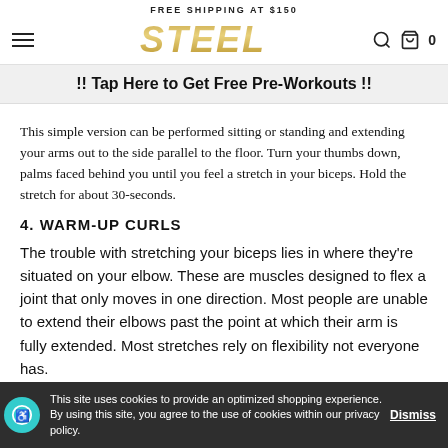FREE SHIPPING AT $150
[Figure (logo): STEEL brand logo in gold italic bold font]
!! Tap Here to Get Free Pre-Workouts !!
This simple version can be performed sitting or standing and extending your arms out to the side parallel to the floor. Turn your thumbs down, palms faced behind you until you feel a stretch in your biceps. Hold the stretch for about 30-seconds.
4. WARM-UP CURLS
The trouble with stretching your biceps lies in where they're situated on your elbow. These are muscles designed to flex a joint that only moves in one direction. Most people are unable to extend their elbows past the point at which their arm is fully extended. Most stretches rely on flexibility not everyone has.
This site uses cookies to provide an optimized shopping experience. By using this site, you agree to the use of cookies within our privacy policy.   Dismiss